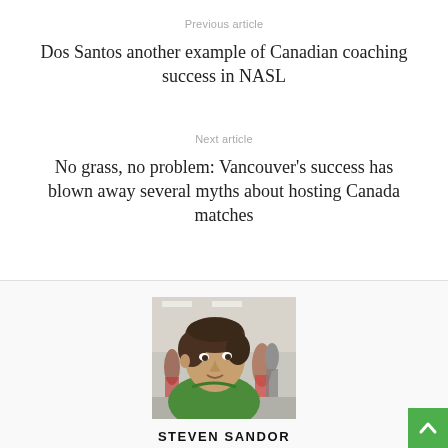Previous article
Dos Santos another example of Canadian coaching success in NASL
Next article
No grass, no problem: Vancouver's success has blown away several myths about hosting Canada matches
[Figure (photo): Headshot photo of Steven Sandor, a man with short brown hair wearing a green shirt, seated in what appears to be a public venue with people in the background]
STEVEN SANDOR